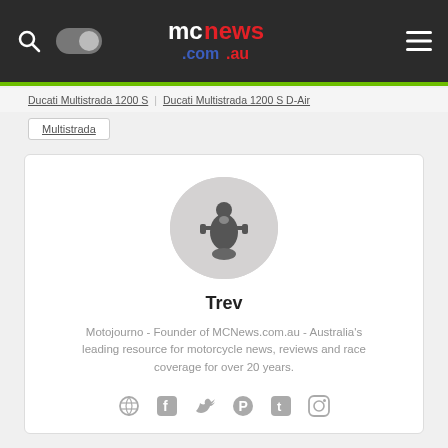mcnews.com.au
Ducati Multistrada 1200 S
Ducati Multistrada 1200 S D-Air
Multistrada
[Figure (photo): Circular avatar image of a motorcyclist viewed from front, black and white photo on grey background]
Trev
Motojourno - Founder of MCNews.com.au - Australia's leading resource for motorcycle news, reviews and race coverage for over 20 years.
[Figure (infographic): Row of social media icons: globe/heart, Facebook, Twitter, Pinterest, Tumblr, Instagram — all in grey]